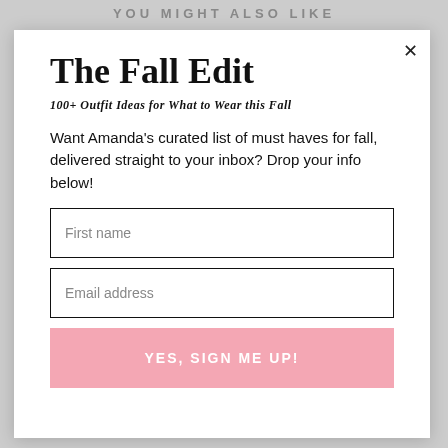YOU MIGHT ALSO LIKE
The Fall Edit
100+ Outfit Ideas for What to Wear this Fall
Want Amanda's curated list of must haves for fall, delivered straight to your inbox? Drop your info below!
First name
Email address
YES, SIGN ME UP!